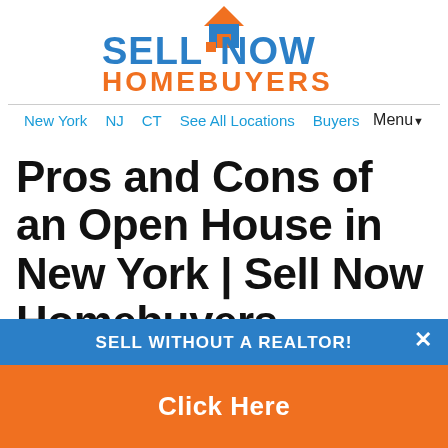[Figure (logo): Sell Now Homebuyers logo with blue text and orange house icon]
New York  NJ  CT  See All Locations  Buyers   Menu▼
Pros and Cons of an Open House in New York | Sell Now Homebuyers
SELL WITHOUT A REALTOR!
Click Here